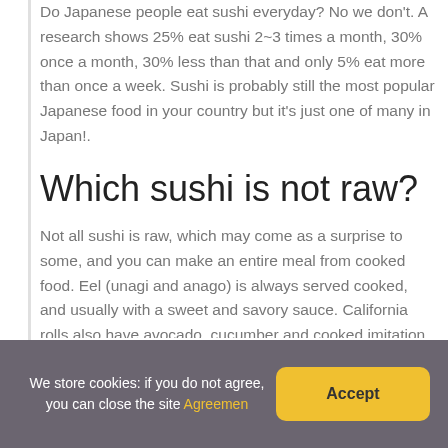Do Japanese people eat sushi everyday? No we don't. A research shows 25% eat sushi 2~3 times a month, 30% once a month, 30% less than that and only 5% eat more than once a week. Sushi is probably still the most popular Japanese food in your country but it's just one of many in Japan!.
Which sushi is not raw?
Not all sushi is raw, which may come as a surprise to some, and you can make an entire meal from cooked food. Eel (unagi and anago) is always served cooked, and usually with a sweet and savory sauce. California rolls also have avocado, cucumber and cooked imitation crab meat (called kamaboko or surimi).
We store cookies: if you do not agree, you can close the site Agreemen [Accept]